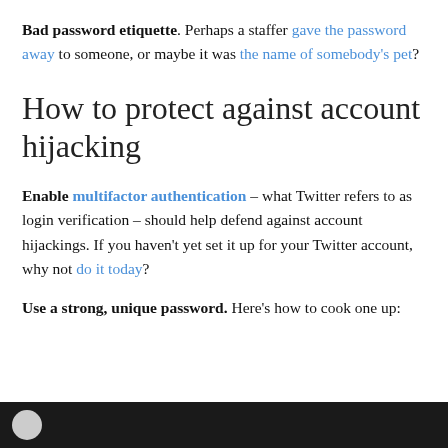Bad password etiquette. Perhaps a staffer gave the password away to someone, or maybe it was the name of somebody's pet?
How to protect against account hijacking
Enable multifactor authentication – what Twitter refers to as login verification – should help defend against account hijackings. If you haven't yet set it up for your Twitter account, why not do it today?
Use a strong, unique password. Here's how to cook one up:
[Figure (photo): Dark background image strip at the bottom of the page, partially visible, showing a circular element on the left side]